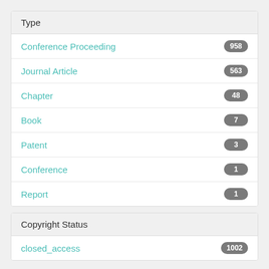Type
Conference Proceeding 958
Journal Article 563
Chapter 48
Book 7
Patent 3
Conference 1
Report 1
Copyright Status
closed_access 1002